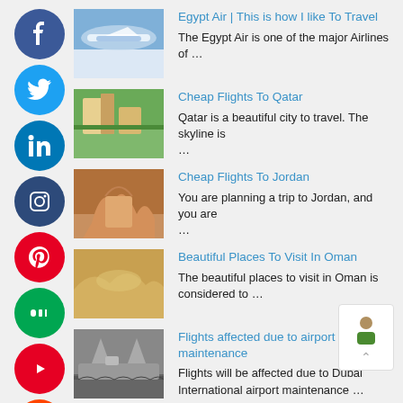Egypt Air | This is how I like To Travel — The Egypt Air is one of the major Airlines of …
Cheap Flights To Qatar — Qatar is a beautiful city to travel. The skyline is …
Cheap Flights To Jordan — You are planning a trip to Jordan, and you are …
Beautiful Places To Visit In Oman — The beautiful places to visit in Oman is considered to …
Flights affected due to airport maintenance — Flights will be affected due to Dubai International airport maintenance …
Cuisines To Taste In Costa Rica